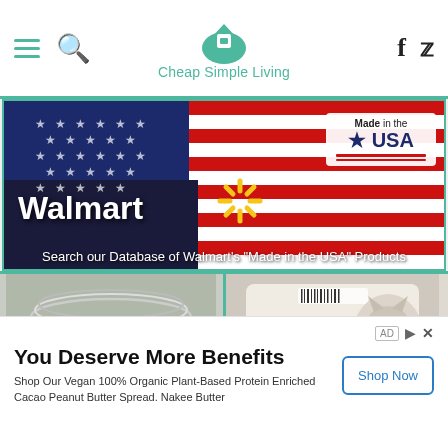Cheap Simple Living
[Figure (screenshot): Walmart 'Made in the USA' banner with American flag background, Walmart logo and spark, and 'Made in the USA' badge]
Search our Database of Walmart's "Made in the USA" Products
[Figure (photo): White plastic food storage containers stacked, viewed from above]
[Figure (photo): Special Kitty cat food bag with cat graphic]
You Deserve More Benefits
Shop Our Vegan 100% Organic Plant-Based Protein Enriched Cacao Peanut Butter Spread. Nakee Butter
Shop Now